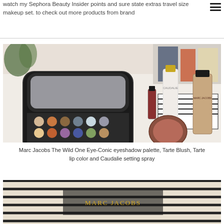watch my Sephora Beauty Insider points and sure state extras travel size makeup set. to check out more products from brand
[Figure (photo): Flat lay photo of Marc Jacobs The Wild One Eye-Conic eyeshadow palette open showing colorful eyeshadow pans, alongside Tarte Blush compact, Tarte lip color, Caudalie setting spray bottle, and Marc Jacobs foundation bottle, arranged on a white surface with books in background]
Marc Jacobs The Wild One Eye-Conic eyeshadow palette, Tarte Blush, Tarte lip color and Caudalie setting spray
[Figure (photo): Partial photo at bottom of page showing what appears to be a Marc Jacobs branded item on a striped black and white surface with gold text visible]